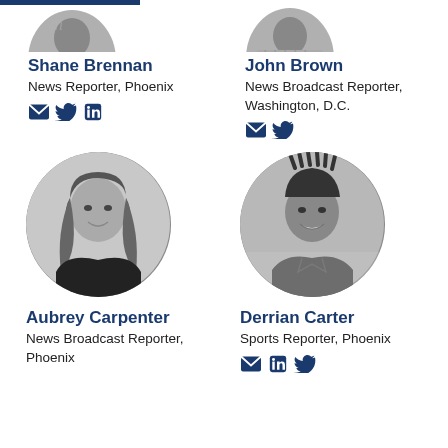[Figure (photo): Partial circular photo of Shane Brennan at top left]
Shane Brennan
News Reporter, Phoenix
[Figure (photo): Partial circular photo of John Brown at top right]
John Brown
News Broadcast Reporter, Washington, D.C.
[Figure (photo): Black and white circular headshot of Aubrey Carpenter]
Aubrey Carpenter
News Broadcast Reporter, Phoenix
[Figure (photo): Black and white circular headshot of Derrian Carter]
Derrian Carter
Sports Reporter, Phoenix